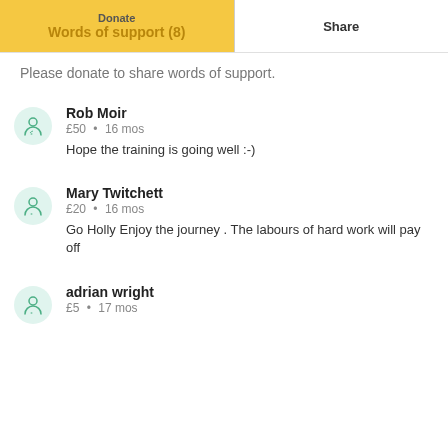Donate | Words of support (8) | Share
Please donate to share words of support.
Rob Moir · £50 · 16 mos · Hope the training is going well :-)
Mary Twitchett · £20 · 16 mos · Go Holly Enjoy the journey . The labours of hard work will pay off
adrian wright · £5 · 17 mos